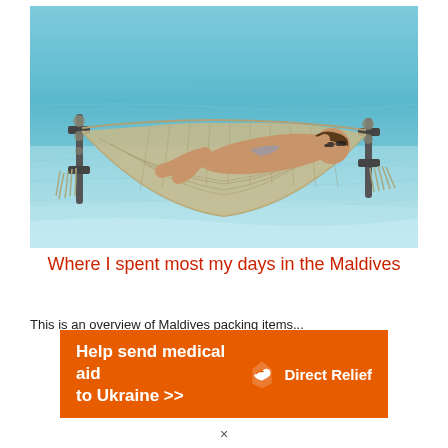[Figure (photo): A person relaxing in a hammock strung over shallow turquoise ocean water in the Maldives. The hammock is woven net-style and the water is clear and calm.]
Where I spent most my days in the Maldives
This is an overview of Maldives packing items...
[Figure (infographic): Advertisement banner: orange background with white bold text reading 'Help send medical aid to Ukraine >>' and the Direct Relief logo on the right.]